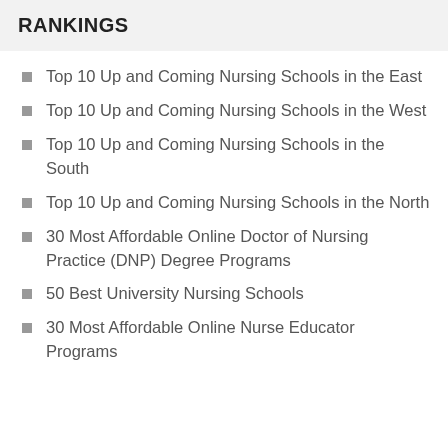RANKINGS
Top 10 Up and Coming Nursing Schools in the East
Top 10 Up and Coming Nursing Schools in the West
Top 10 Up and Coming Nursing Schools in the South
Top 10 Up and Coming Nursing Schools in the North
30 Most Affordable Online Doctor of Nursing Practice (DNP) Degree Programs
50 Best University Nursing Schools
30 Most Affordable Online Nurse Educator Programs